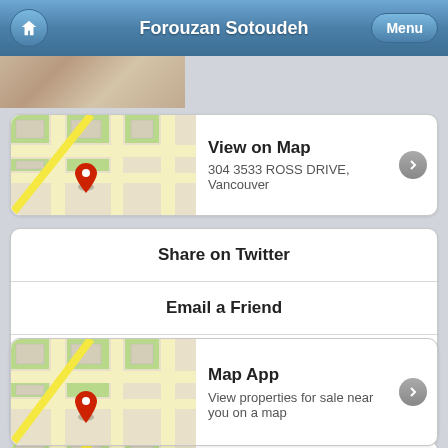Forouzan Sotoudeh
[Figure (screenshot): Partial real estate photo strip at top of content]
[Figure (map): Map thumbnail showing street map with red location pin]
View on Map
304 3533 ROSS DRIVE, Vancouver
Share on Twitter
Email a Friend
Email REALTOR®
Call REALTOR®
[Figure (map): Map thumbnail showing street map with red location pin for Map App]
Map App
View properties for sale near you on a map